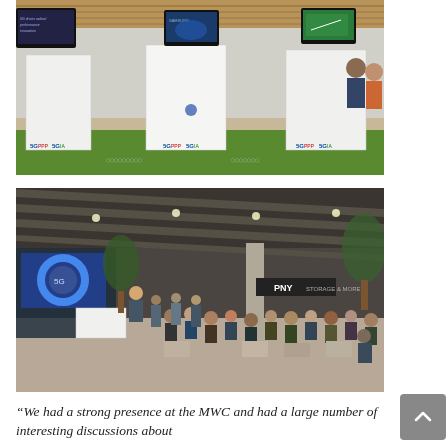[Figure (photo): Indoor trade show booth with 5G PPP and 5GIA branding on white kiosks/stands, multiple TV monitors displaying presentations, green artificial grass flooring, wooden ceiling, visitors in background.]
[Figure (photo): Large indoor exhibition hall with audience seated and standing, a presenter speaking at left near a screen, modern interior with striped ceiling, trees, and PNY signage visible in background.]
“We had a strong presence at the MWC and had a large number of interesting discussions about